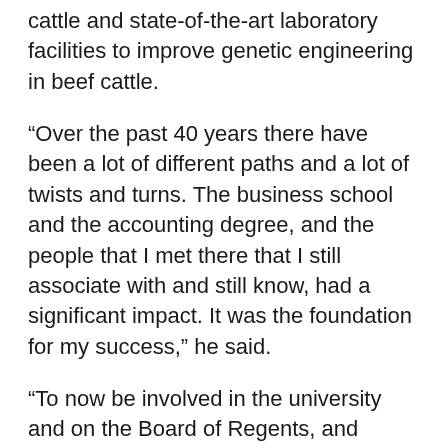cattle and state-of-the-art laboratory facilities to improve genetic engineering in beef cattle.
“Over the past 40 years there have been a lot of different paths and a lot of twists and turns. The business school and the accounting degree, and the people that I met there that I still associate with and still know, had a significant impact. It was the foundation for my success,” he said.
“To now be involved in the university and on the Board of Regents, and serving as chairman, I’m fortunate to be able to reflect back on and think how lucky I was to be able to be here and get a degree. But for OSU, friends and my wife, I don’t know where I would be. Without OSU, I don’t know what we would have done,” said Link.